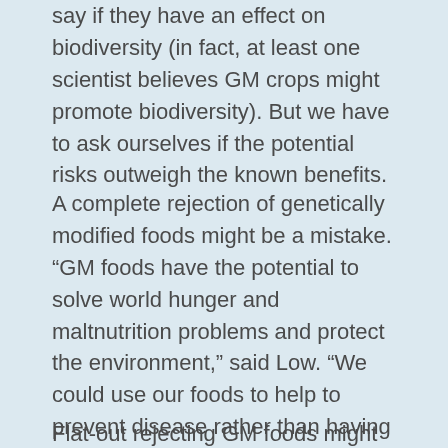say if they have an effect on biodiversity (in fact, at least one scientist believes GM crops might promote biodiversity). But we have to ask ourselves if the potential risks outweigh the known benefits.
A complete rejection of genetically modified foods might be a mistake. “GM foods have the potential to solve world hunger and maltnutrition problems and protect the environment,” said Low. “We could use our foods to help to prevent disease rather than having medicine as a the middle man.”
Flat-out rejecting GM foods might mean rejecting better